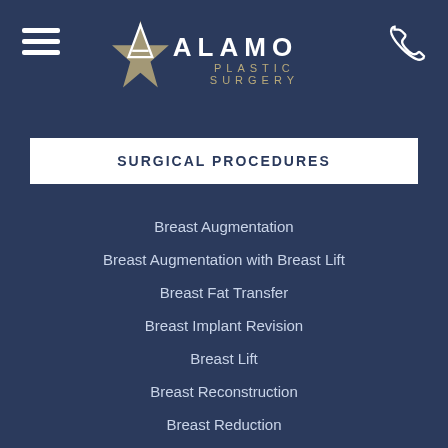Alamo Plastic Surgery
SURGICAL PROCEDURES
Breast Augmentation
Breast Augmentation with Breast Lift
Breast Fat Transfer
Breast Implant Revision
Breast Lift
Breast Reconstruction
Breast Reduction
Male Breast Reduction
Arm Lift